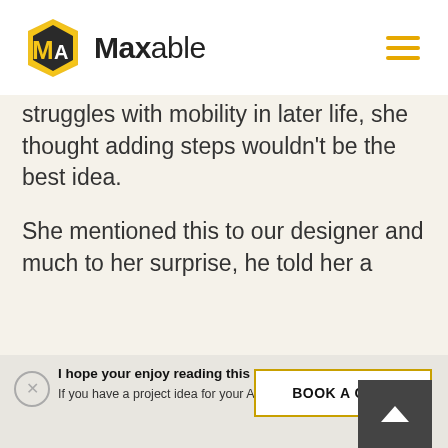[Figure (logo): Maxable logo: hexagonal badge with MA letters in yellow/black, beside the text 'Maxable' in bold/regular]
struggles with mobility in later life, she thought adding steps wouldn't be the best idea.
She mentioned this to our designer and much to her surprise, he told her a
I hope your enjoy reading this blog post. If you have a project idea for your ADU, just book a call.
BOOK A CALL